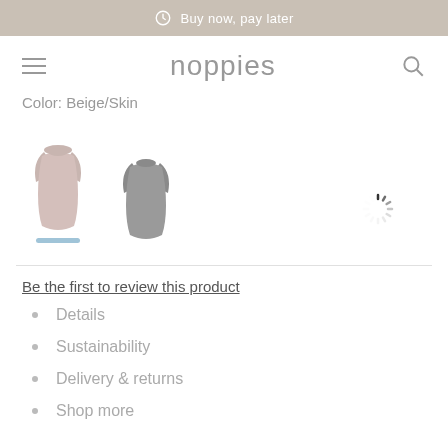Buy now, pay later
noppies
Color: Beige/Skin
[Figure (photo): Two maternity dress thumbnails: one beige/skin colored dress and one grey dress, with a loading spinner to the right]
Be the first to review this product
Details
Sustainability
Delivery & returns
Shop more